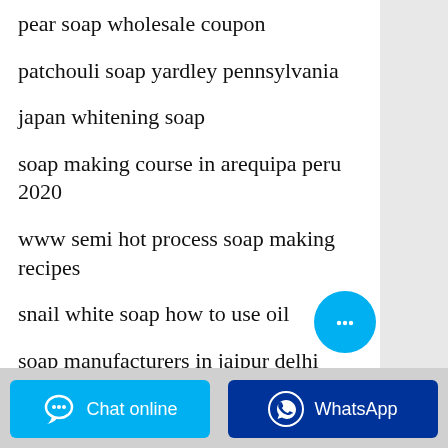pear soap wholesale coupon
patchouli soap yardley pennsylvania
japan whitening soap
soap making course in arequipa peru 2020
www semi hot process soap making recipes
snail white soap how to use oil
soap manufacturers in jaipur delhi
www soap making plans design ideas
Chat online
WhatsApp